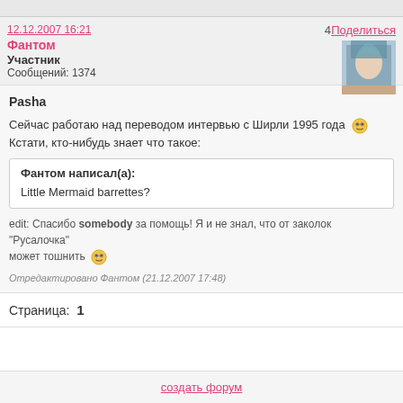12.12.2007 16:21   4   Поделиться
Фантом
Участник
Сообщений: 1374
Pasha
Сейчас работаю над переводом интервью с Ширли 1995 года 😊
Кстати, кто-нибудь знает что такое:

Фантом написал(а):
Little Mermaid barrettes?

edit: Спасибо somebody за помощь! Я и не знал, что от заколок "Русалочка" может тошнить 😊

Отредактировано Фантом (21.12.2007 17:48)
Страница: 1
создать форум